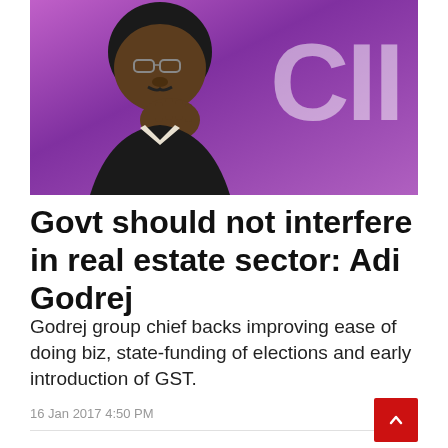[Figure (photo): Photo of Adi Godrej, a man with glasses and a moustache, resting his hand near his chin, against a purple background with CII logo text visible]
Govt should not interfere in real estate sector: Adi Godrej
Godrej group chief backs improving ease of doing biz, state-funding of elections and early introduction of GST.
16 Jan 2017 4:50 PM